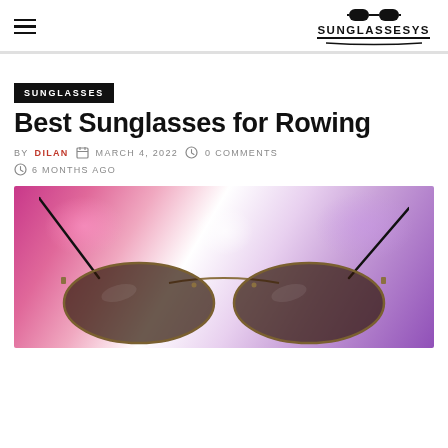SUNGLASSESYS
SUNGLASSES
Best Sunglasses for Rowing
BY DILAN  MARCH 4, 2022  0 COMMENTS  6 MONTHS AGO
[Figure (photo): Close-up photo of a pair of sunglasses with thin metal frames against a blurred pink and purple bokeh background]